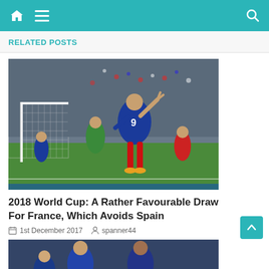Navigation bar with home, menu, and search icons
RELATED POSTS
[Figure (photo): Football player wearing France jersey number 9, making a peace sign with his hand near a goal post, crowd in the background]
2018 World Cup: A Rather Favourable Draw For France, Which Avoids Spain
1st December 2017   spanner44
[Figure (photo): Partial view of another football-related photo, showing players]